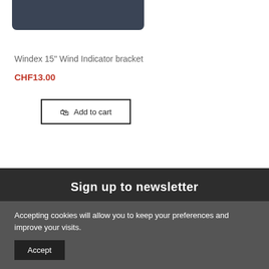[Figure (photo): Bottom portion of a dark navy/charcoal product (Windex 15" Wind Indicator bracket) with rounded bottom corners, cropped at top of page]
Windex 15" Wind Indicator bracket
CHF13.00
Add to cart
Sign up to newsletter
Accepting cookies will allow you to keep your preferences and improve your visits.
Accept